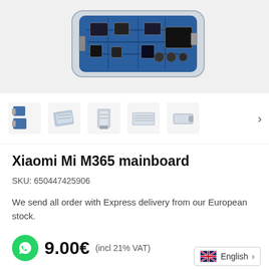[Figure (photo): Close-up photo of a Xiaomi Mi M365 electric scooter mainboard/circuit board in a transparent enclosure, viewed from above showing blue PCB with electronic components]
[Figure (photo): Row of 5 thumbnail images showing various connector components of the Xiaomi Mi M365 mainboard from different angles]
Xiaomi Mi M365 mainboard
SKU: 650447425906
We send all order with Express delivery from our European stock.
9.00€ (incl 21% VAT)